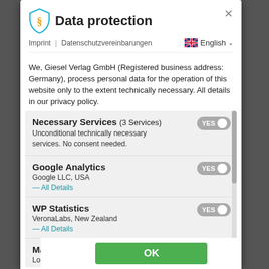Data protection
Imprint | Datenschutzvereinbarungen
We, Giesel Verlag GmbH (Registered business address: Germany), process personal data for the operation of this website only to the extent technically necessary. All details in our privacy policy.
Necessary Services (3 Services)
Unconditional technically necessary services. No consent needed.
Google Analytics
Google LLC, USA
ꟷ All Details
WP Statistics
VeronaLabs, New Zealand
ꟷ All Details
Mautic
Local installation
OK